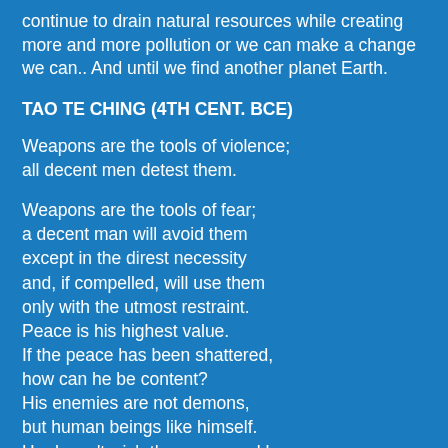continue to drain natural resources while creating more and more pollution or we can make a change we can.. And until we find another planet Earth.
TAO TE CHING (4TH CENT. BCE)
Weapons are the tools of violence;
all decent men detest them.
Weapons are the tools of fear;
a decent man will avoid them
except in the direst necessity
and, if compelled, will use them
only with the utmost restraint.
Peace is his highest value.
If the peace has been shattered,
how can he be content?
His enemies are not demons,
but human beings like himself.
He doesn't wish them personal harm.
Nor does he rejoice in victory.
How could he rejoice in victory
and delight in the slaughter of men?